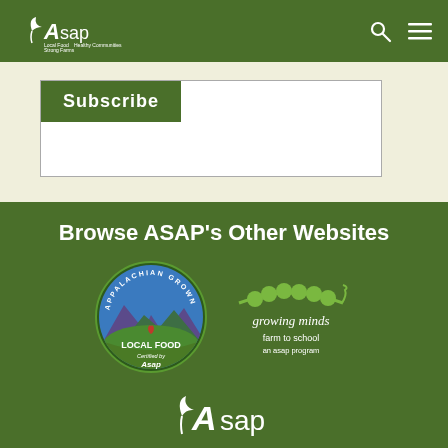[Figure (logo): ASAP logo in white on green header bar - Local Food Strong Farms Healthy Communities]
[Figure (other): Subscribe button in a bordered box on light beige background]
Browse ASAP's Other Websites
[Figure (logo): Appalachian Grown Local Food Certified by Asap circular logo]
[Figure (logo): Growing Minds farm to school an asap program logo with green pea pod]
[Figure (logo): ASAP white logo at bottom of page]